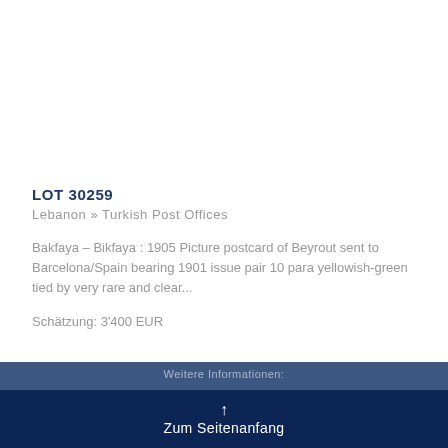[Figure (photo): White/empty image area at top of page, bordered at bottom]
LOT 30259
Lebanon » Turkish Post Offices
Bakfaya – Bikfaya : 1905 Picture postcard of Beyrout sent to Barcelona/Spain bearing 1901 issue pair 10 para yellowish-green tied by very rare and clear...
Schätzung: 3'400 EUR
↑ Zum Seitenanfang